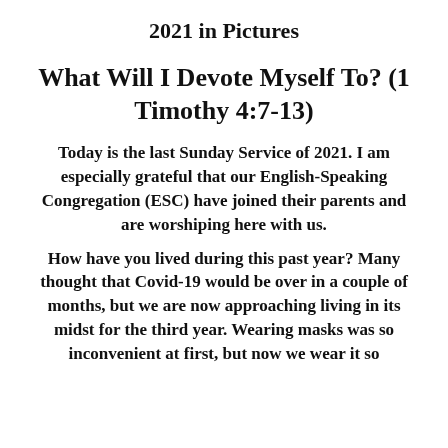2021 in Pictures
What Will I Devote Myself To? (1 Timothy 4:7-13)
Today is the last Sunday Service of 2021. I am especially grateful that our English-Speaking Congregation (ESC) have joined their parents and are worshiping here with us.
How have you lived during this past year? Many thought that Covid-19 would be over in a couple of months, but we are now approaching living in its midst for the third year. Wearing masks was so inconvenient at first, but now we wear it so